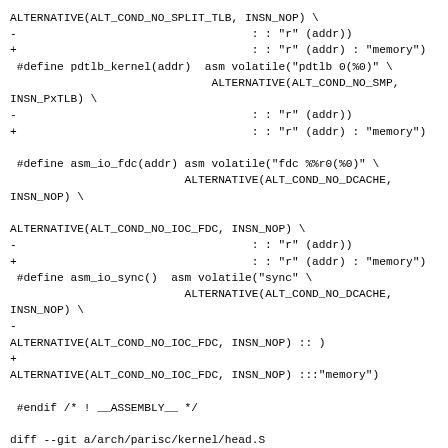ALTERNATIVE(ALT_COND_NO_SPLIT_TLB, INSN_NOP) \
-                                   : : "r" (addr))
+                                   : : "r" (addr) : "memory")
 #define pdtlb_kernel(addr)  asm volatile("pdtlb 0(%0)" \
                              ALTERNATIVE(ALT_COND_NO_SMP,
INSN_PxTLB) \
-                                   : : "r" (addr))
+                                   : : "r" (addr) : "memory")

 #define asm_io_fdc(addr) asm volatile("fdc %%r0(%0)" \
                          ALTERNATIVE(ALT_COND_NO_DCACHE,
INSN_NOP) \

ALTERNATIVE(ALT_COND_NO_IOC_FDC, INSN_NOP) \
-                                   : : "r" (addr))
+                                   : : "r" (addr) : "memory")
 #define asm_io_sync()  asm volatile("sync" \
                          ALTERNATIVE(ALT_COND_NO_DCACHE,
INSN_NOP) \
-
ALTERNATIVE(ALT_COND_NO_IOC_FDC, INSN_NOP) :: )
+
ALTERNATIVE(ALT_COND_NO_IOC_FDC, INSN_NOP) :::"memory")

 #endif /* ! __ASSEMBLY__ */

diff --git a/arch/parisc/kernel/head.S
b/arch/parisc/kernel/head.S